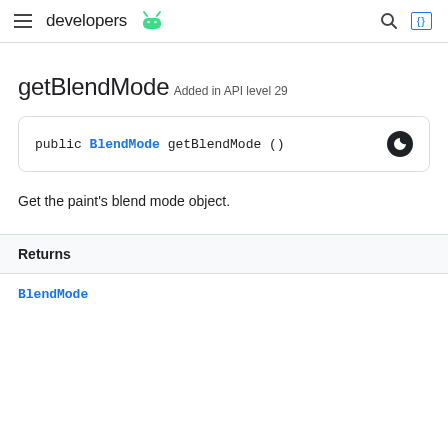developers (Android logo)
getBlendMode
Added in API level 29
public BlendMode getBlendMode ()
Get the paint's blend mode object.
Returns
BlendMode